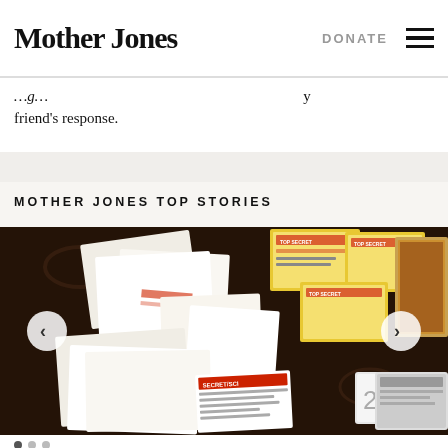Mother Jones | DONATE
friend's response.
MOTHER JONES TOP STORIES
[Figure (photo): Photograph of classified documents and envelopes scattered on a dark patterned tablecloth, including documents labeled SECRET/SCI and yellow-bordered envelopes, with a tag labeled 2A visible in the foreground.]